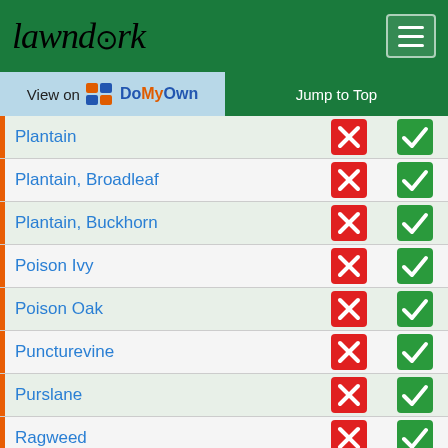lawndork
| Weed | Col1 | Col2 |
| --- | --- | --- |
| Plantain | X | ✓ |
| Plantain, Broadleaf | X | ✓ |
| Plantain, Buckhorn | X | ✓ |
| Poison Ivy | X | ✓ |
| Poison Oak | X | ✓ |
| Puncturevine | X | ✓ |
| Purslane | X | ✓ |
| Ragweed | X | ✓ |
| Redweed | X | ✓ |
| Salsify, Western | X | ✓ |
| ... | ✓ | ✓ |
1
Jump to CertainLabel™ Gordons Trimec Classic Label Rates & Calculator for these 114 weeds